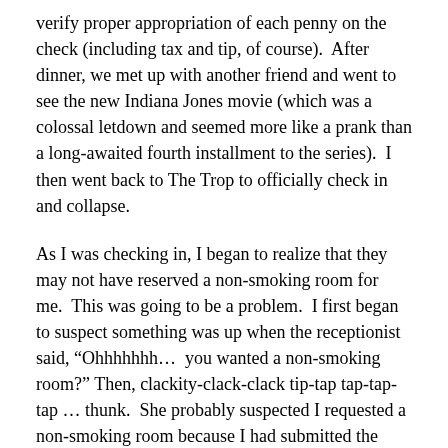verify proper appropriation of each penny on the check (including tax and tip, of course).  After dinner, we met up with another friend and went to see the new Indiana Jones movie (which was a colossal letdown and seemed more like a prank than a long-awaited fourth installment to the series).  I then went back to The Trop to officially check in and collapse.
As I was checking in, I began to realize that they may not have reserved a non-smoking room for me.  This was going to be a problem.  I first began to suspect something was up when the receptionist said, “Ohhhhhhh…  you wanted a non-smoking room?” Then, clackity-clack-clack tip-tap tap-tap-tap … thunk.  She probably suspected I requested a non-smoking room because I had submitted the following “special request” when I booked the room on Expedia: